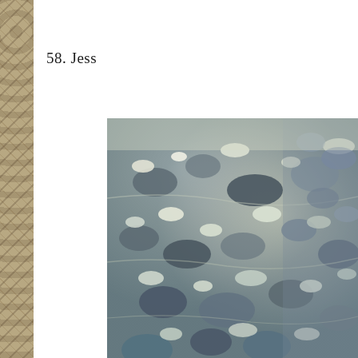58. Jess
[Figure (photo): Close-up photograph of sunlit water over rocks or pebbles, showing shimmering reflections and rippling water surface with silver and grey tones.]